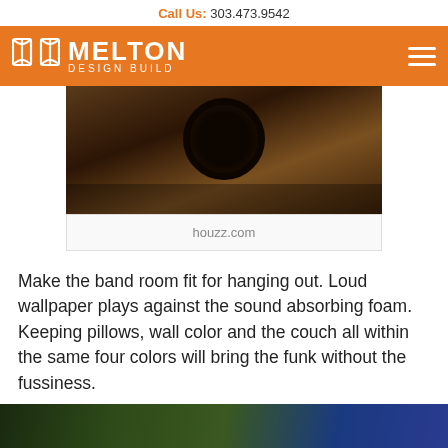Call Us: 303.473.9542
[Figure (logo): Melton Design Build logo on orange navigation bar with hamburger menu icon]
[Figure (photo): Dark interior photo showing a toilet or round fixture on tiled floor, partially cut off at top]
houzz.com
Make the band room fit for hanging out. Loud wallpaper plays against the sound absorbing foam. Keeping pillows, wall color and the couch all within the same four colors will bring the funk without the fussiness.
[Figure (photo): Bottom portion of another photo showing an outdoor or room scene, partially cut off]